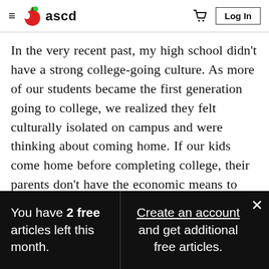≡ ascd  🛒  Log In
In the very recent past, my high school didn't have a strong college-going culture. As more of our students became the first generation going to college, we realized they felt culturally isolated on campus and were thinking about coming home. If our kids come home before completing college, their parents don't have the economic means to support them in going back to school. When they miss that opportunity
You have 2 free articles left this month.
Create an account and get additional free articles.